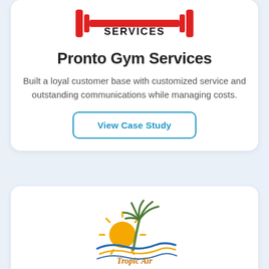[Figure (logo): Pronto Gym Services logo with red barbell/dumbbell bars graphic and bold black SERVICES text]
Pronto Gym Services
Built a loyal customer base with customized service and outstanding communications while managing costs.
View Case Study
[Figure (logo): Tropic Air logo with sun, palm tree, and waves graphic. Text reads: Tropic Air, Heating · Cooling · Refrigeration]